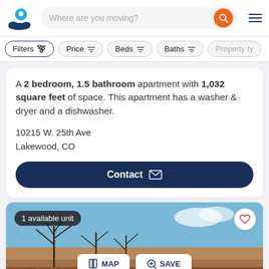Where are you moving?
Filters | Price | Beds | Baths | Property ty
A 2 bedroom, 1.5 bathroom apartment with 1,032 square feet of space. This apartment has a washer & dryer and a dishwasher.
10215 W. 25th Ave
Lakewood, CO
Contact
[Figure (photo): Apartment building exterior photo with bare winter trees and blue sky, overlaid with '1 available unit' badge, heart button, MAP and SAVE buttons]